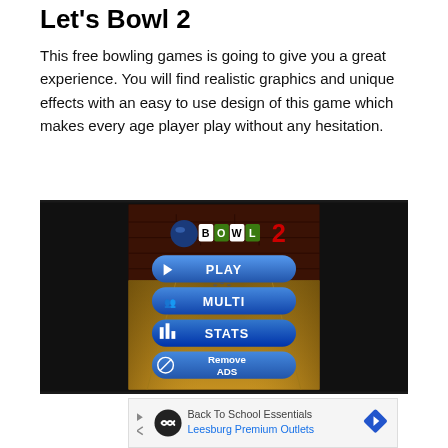Let's Bowl 2
This free bowling games is going to give you a great experience. You will find realistic graphics and unique effects with an easy to use design of this game which makes every age player play without any hesitation.
[Figure (screenshot): Screenshot of Let's Bowl 2 game showing the main menu with a bowling alley background. Menu options include PLAY, MULTI, STATS, and Remove ADS buttons on a dark background.]
[Figure (screenshot): Advertisement banner showing Back To School Essentials for Leesburg Premium Outlets with a black circular logo and blue diamond navigation icon.]